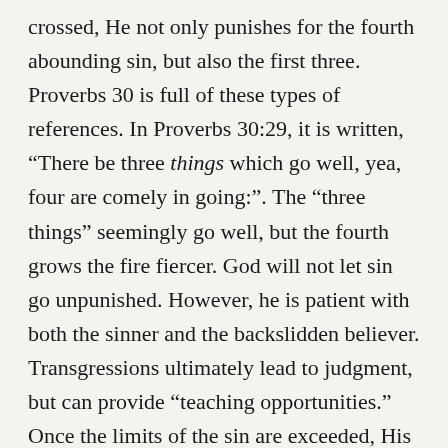crossed, He not only punishes for the fourth abounding sin, but also the first three. Proverbs 30 is full of these types of references. In Proverbs 30:29, it is written, “There be three things which go well, yea, four are comely in going:”. The “three things” seemingly go well, but the fourth grows the fire fiercer. God will not let sin go unpunished. However, he is patient with both the sinner and the backslidden believer. Transgressions ultimately lead to judgment, but can provide “teaching opportunities.” Once the limits of the sin are exceeded, His judgment is complete and just. Let us strive to keep our lives within the bounds of His guidance and will. The closer we walk with God, the